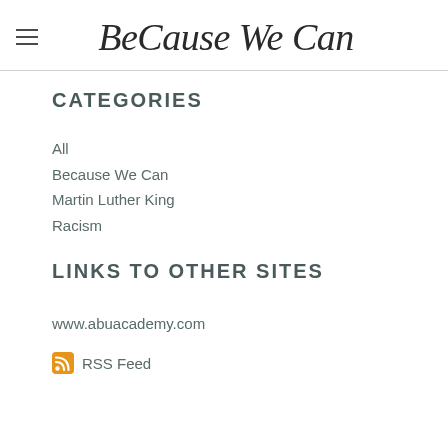BeCause We Can
CATEGORIES
All
Because We Can
Martin Luther King
Racism
LINKS TO OTHER SITES
www.abuacademy.com
RSS Feed